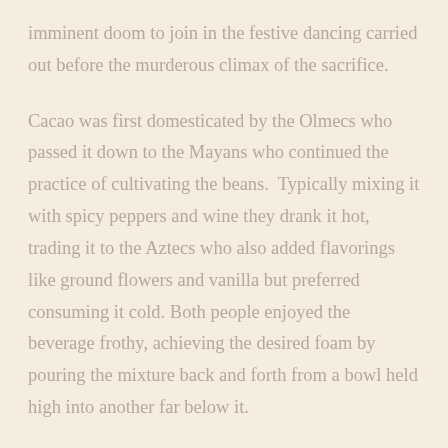imminent doom to join in the festive dancing carried out before the murderous climax of the sacrifice.
Cacao was first domesticated by the Olmecs who passed it down to the Mayans who continued the practice of cultivating the beans.  Typically mixing it with spicy peppers and wine they drank it hot, trading it to the Aztecs who also added flavorings like ground flowers and vanilla but preferred consuming it cold. Both people enjoyed the beverage frothy, achieving the desired foam by pouring the mixture back and forth from a bowl held high into another far below it.
Cacao beans were used as a form of currency among the ancient Mayans and Aztecs. Conquistadors who brought...